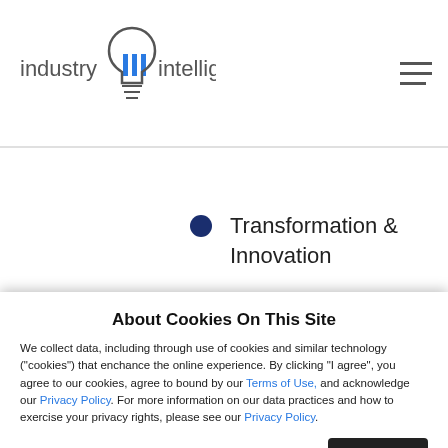industry iii intelligence inc.
Transformation & Innovation
ABOUT US
About Cookies On This Site
We collect data, including through use of cookies and similar technology ("cookies") that enchance the online experience. By clicking "I agree", you agree to our cookies, agree to bound by our Terms of Use, and acknowledge our Privacy Policy. For more information on our data practices and how to exercise your privacy rights, please see our Privacy Policy.